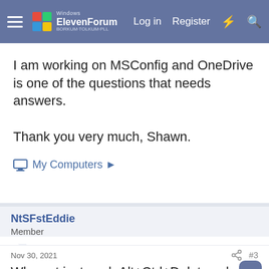Windows ElevenForum — Log in  Register
I am working on MSConfig and OneDrive is one of the questions that needs answers.

Thank you very much, Shawn.
My Computers ▶
NtSFstEddie
Member
Nov 30, 2021  #3
Why not just push Alt+Ctrl+Delete,select task manager,more details,startup,OneDrive and disable? There might be other things in there you might want to disable at startup too.